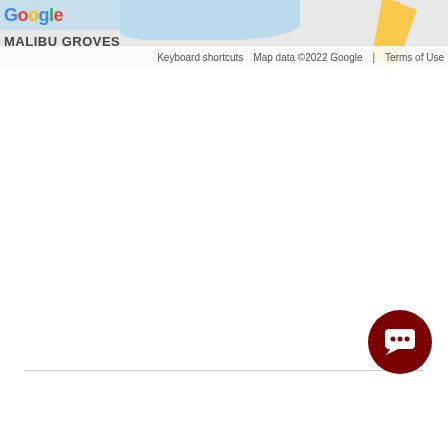[Figure (map): Google Maps screenshot showing Malibu Groves area with water features and roads. Google logo visible top-left with map attribution bar showing 'Keyboard shortcuts', 'Map data ©2022 Google', 'Terms of Use'.]
Copyright © 2022 Furniture Services Corporation - All Rights Reserved.

Powered by GoDaddy